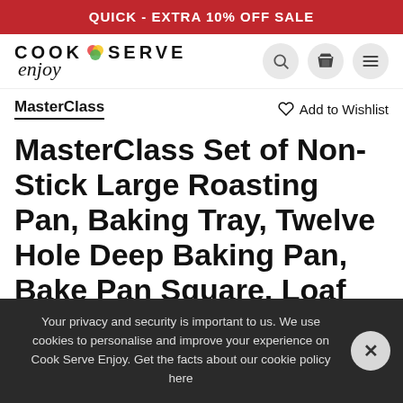QUICK - EXTRA 10% OFF SALE
[Figure (logo): Cook Serve Enjoy logo with colorful dots and italic script]
MasterClass
Add to Wishlist
MasterClass Set of Non-Stick Large Roasting Pan, Baking Tray, Twelve Hole Deep Baking Pan, Bake Pan Square, Loaf Pan
Your privacy and security is important to us. We use cookies to personalise and improve your experience on Cook Serve Enjoy. Get the facts about our cookie policy here